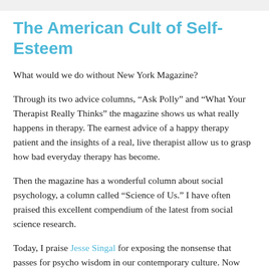The American Cult of Self-Esteem
What would we do without New York Magazine?
Through its two advice columns, “Ask Polly” and “What Your Therapist Really Thinks” the magazine shows us what really happens in therapy. The earnest advice of a happy therapy patient and the insights of a real, live therapist allow us to grasp how bad everyday therapy has become.
Then the magazine has a wonderful column about social psychology, a column called “Science of Us.” I have often praised this excellent compendium of the latest from social science research.
Today, I praise Jesse Singal for exposing the nonsense that passes for psycho wisdom in our contemporary culture. Now that God has passed away, no one turns to religion for moral teaching or for instruction on how best to conduct one’s life. Too often one turns to the pseudo-scientific nostrums that therapy offers to our gullible